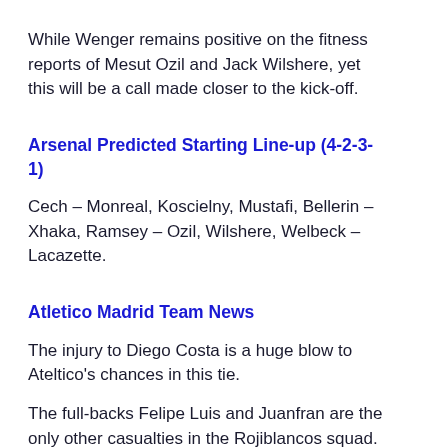While Wenger remains positive on the fitness reports of Mesut Ozil and Jack Wilshere, yet this will be a call made closer to the kick-off.
Arsenal Predicted Starting Line-up (4-2-3-1)
Cech – Monreal, Koscielny, Mustafi, Bellerin – Xhaka, Ramsey – Ozil, Wilshere, Welbeck – Lacazette.
Atletico Madrid Team News
The injury to Diego Costa is a huge blow to Ateltico's chances in this tie.
The full-backs Felipe Luis and Juanfran are the only other casualties in the Rojiblancos squad.
Atletico Madrid Predicted Starting Line-up (4-4-2)